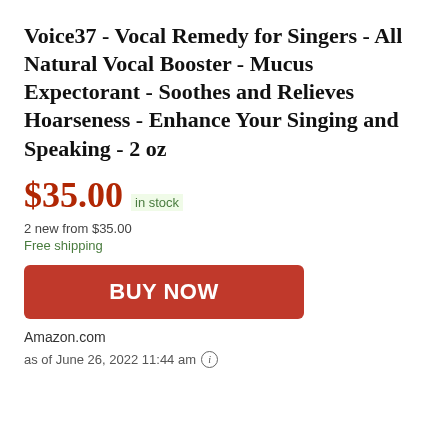Voice37 - Vocal Remedy for Singers - All Natural Vocal Booster - Mucus Expectorant - Soothes and Relieves Hoarseness - Enhance Your Singing and Speaking - 2 oz
$35.00 in stock
2 new from $35.00
Free shipping
BUY NOW
Amazon.com
as of June 26, 2022 11:44 am